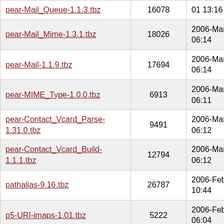| pear-Mail_Queue-1.1.3.tbz | 16078 | 01 13:16 |
| pear-Mail_Mime-1.3.1.tbz | 18026 | 2006-Mar-01 06:14 |
| pear-Mail-1.1.9.tbz | 17694 | 2006-Mar-01 06:14 |
| pear-MIME_Type-1.0.0.tbz | 6913 | 2006-Mar-01 06:11 |
| pear-Contact_Vcard_Parse-1.31.0.tbz | 9491 | 2006-Mar-01 06:12 |
| pear-Contact_Vcard_Build-1.1.1.tbz | 12794 | 2006-Mar-01 06:12 |
| pathalias-9.16.tbz | 26787 | 2006-Feb-27 10:44 |
| p5-URI-imaps-1.01.tbz | 5222 | 2006-Feb-28 06:04 |
| p5-URI-imap-1.01.tbz | 5171 | 2006-Feb-28 06:08 |
| p5-Sendmail-AccessDB-0.09.tbz | 11363 | 2006-Feb-28 03:57 |
| p5-Qmail-Envelope-0.53.tbz | 8410 | 2006-Feb-27 18:10 |
| p5-POE_Component_SMTP |  | 2006-Feb- |